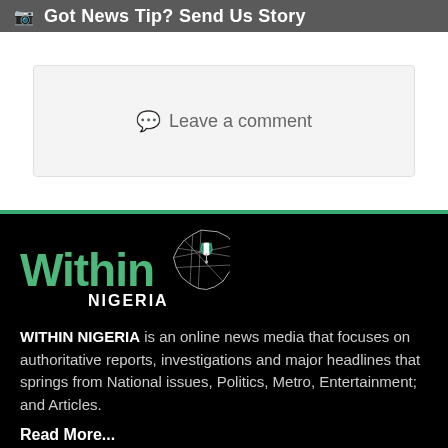Got News Tip? Send Us Story
Leave a comment
[Figure (logo): Within Nigeria logo with stylized green 'Within' text, 'NIGERIA' in white, and a map of Nigeria with a location pin in Nigerian flag colors]
WITHIN NIGERIA is an online news media that focuses on authoritative reports, investigations and major headlines that springs from National issues, Politics, Metro, Entertainment; and Articles.
Read More...